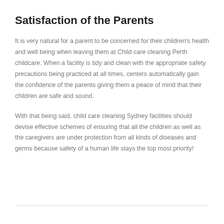Satisfaction of the Parents
It is very natural for a parent to be concerned for their children's health and well being when leaving them at Child care cleaning Perth childcare. When a facility is tidy and clean with the appropriate safety precautions being practiced at all times, centers automatically gain the confidence of the parents giving them a peace of mind that their children are safe and sound.
With that being said, child care cleaning Sydney facilities should devise effective schemes of ensuring that all the children as well as the caregivers are under protection from all kinds of diseases and germs because safety of a human life stays the top most priority!